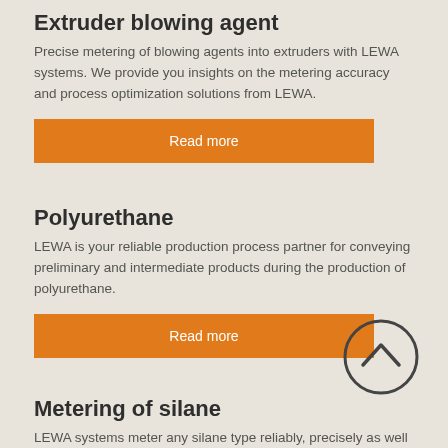Extruder blowing agent
Precise metering of blowing agents into extruders with LEWA systems. We provide you insights on the metering accuracy and process optimization solutions from LEWA.
Read more
Polyurethane
LEWA is your reliable production process partner for conveying preliminary and intermediate products during the production of polyurethane.
Read more
Metering of silane
LEWA systems meter any silane type reliably, precisely as well as in
[Figure (illustration): Circle icon with an upward-pointing chevron arrow inside, indicating a scroll-to-top or back navigation button]